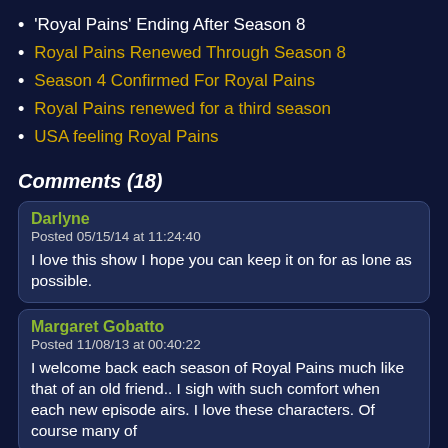'Royal Pains' Ending After Season 8
Royal Pains Renewed Through Season 8
Season 4 Confirmed For Royal Pains
Royal Pains renewed for a third season
USA feeling Royal Pains
Comments (18)
Darlyne
Posted 05/15/14 at 11:24:40

I love this show I hope you can keep it on for as lone as possible.
Margaret Gobatto
Posted 11/08/13 at 00:40:22

I welcome back each season of Royal Pains much like that of an old friend.. I sigh with such comfort when each new episode airs. I love these characters. Of course many of